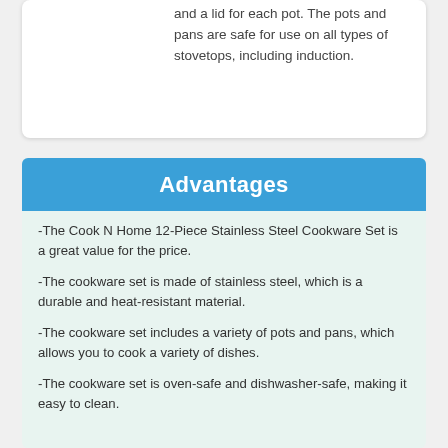and a lid for each pot. The pots and pans are safe for use on all types of stovetops, including induction.
Advantages
-The Cook N Home 12-Piece Stainless Steel Cookware Set is a great value for the price.
-The cookware set is made of stainless steel, which is a durable and heat-resistant material.
-The cookware set includes a variety of pots and pans, which allows you to cook a variety of dishes.
-The cookware set is oven-safe and dishwasher-safe, making it easy to clean.